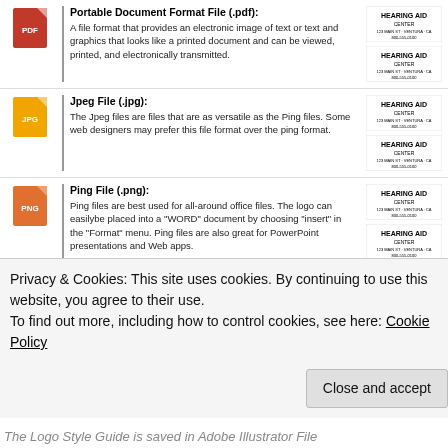Portable Document Format File (.pdf): A file format that provides an electronic image of text or text and graphics that looks like a printed document and can be viewed, printed, and electronically transmitted.
Jpeg File (.jpg): The Jpeg files are files that are as versatile as the Ping files. Some web designers may prefer this file format over the ping format.
Ping File (.png): Ping files are best used for all-around office files. The logo can easilybe placed into a 'WORD' document by choosing 'insert' in the 'Format' menu. Ping files are also great for PowerPoint presentations and Web apps.
Color Guard:
| C: 75 | C: 0 |
| M: 68 | M: 0 |
| Y: 67 | Y: 0 |
| K: 90 | K: 0 |
Privacy & Cookies: This site uses cookies. By continuing to use this website, you agree to their use. To find out more, including how to control cookies, see here: Cookie Policy
The Logo Style Guide is saved in Adobe Illustrator File